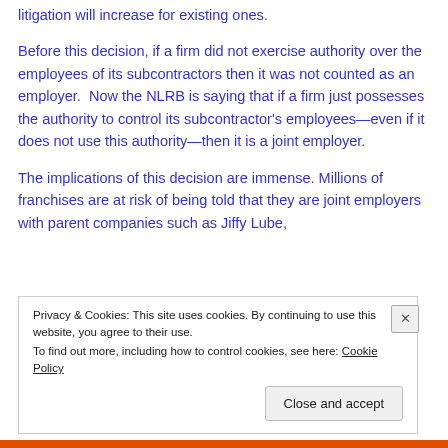litigation will increase for existing ones.
Before this decision, if a firm did not exercise authority over the employees of its subcontractors then it was not counted as an employer.  Now the NLRB is saying that if a firm just possesses the authority to control its subcontractor's employees—even if it does not use this authority—then it is a joint employer.
The implications of this decision are immense. Millions of franchises are at risk of being told that they are joint employers with parent companies such as Jiffy Lube,
Privacy & Cookies: This site uses cookies. By continuing to use this website, you agree to their use.
To find out more, including how to control cookies, see here: Cookie Policy